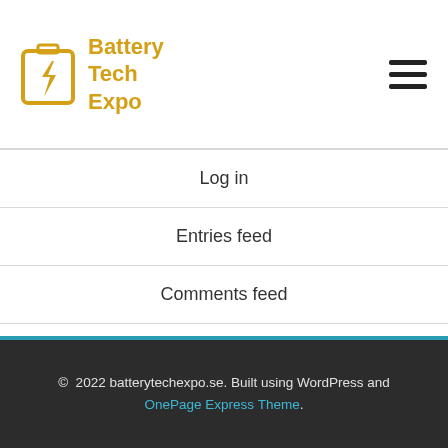[Figure (logo): Battery Tech Expo logo with yellow battery icon and yellow bold text]
Log in
Entries feed
Comments feed
WordPress.org
© 2022 batterytechexpo.se. Built using WordPress and OnePage Express Theme.